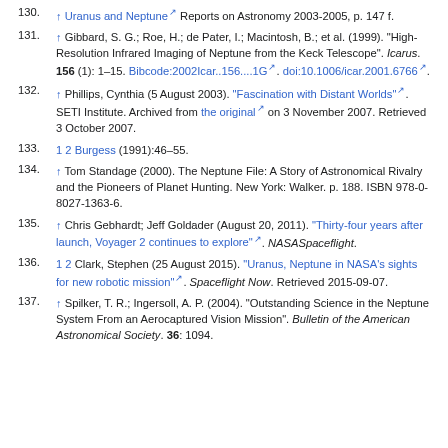130. ↑ Uranus and Neptune [external link] Reports on Astronomy 2003-2005, p. 147 f.
131. ↑ Gibbard, S. G.; Roe, H.; de Pater, I.; Macintosh, B.; et al. (1999). "High-Resolution Infrared Imaging of Neptune from the Keck Telescope". Icarus. 156 (1): 1–15. Bibcode:2002Icar..156....1G [external link]. doi:10.1006/icar.2001.6766 [external link].
132. ↑ Phillips, Cynthia (5 August 2003). "Fascination with Distant Worlds" [external link]. SETI Institute. Archived from the original [external link] on 3 November 2007. Retrieved 3 October 2007.
133. 1 2 Burgess (1991):46–55.
134. ↑ Tom Standage (2000). The Neptune File: A Story of Astronomical Rivalry and the Pioneers of Planet Hunting. New York: Walker. p. 188. ISBN 978-0-8027-1363-6.
135. ↑ Chris Gebhardt; Jeff Goldader (August 20, 2011). "Thirty-four years after launch, Voyager 2 continues to explore" [external link]. NASASpaceflight.
136. 1 2 Clark, Stephen (25 August 2015). "Uranus, Neptune in NASA's sights for new robotic mission" [external link]. Spaceflight Now. Retrieved 2015-09-07.
137. ↑ Spilker, T. R.; Ingersoll, A. P. (2004). "Outstanding Science in the Neptune System From an Aerocaptured Vision Mission". Bulletin of the American Astronomical Society. 36: 1094.